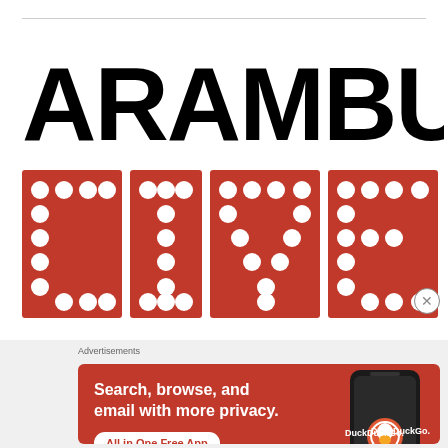[Figure (logo): Arambulo Live logo. 'ARAMBULO' in large bold black text above 'LIVE' in large red marquee-style letters with white circular dots/lights on each letter.]
Advertisements
[Figure (illustration): DuckDuckGo advertisement banner with orange/red background. Text: 'Search, browse, and email with more privacy. All in One Free App'. Shows a smartphone with DuckDuckGo app and the DuckDuckGo duck logo.]